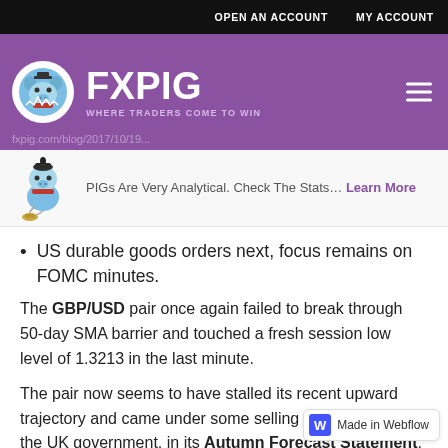OPEN AN ACCOUNT   MY ACCOUNT
[Figure (logo): FXPIG logo — white circle with pig mascot, purple background, text FXPIG WHERE TRADERS COME TO WIN]
PIGs Are Very Analytical. Check The Stats… Learn More
US durable goods orders next, focus remains on FOMC minutes.
The GBP/USD pair once again failed to break through 50-day SMA barrier and touched a fresh session low level of 1.3213 in the last minute.
The pair now seems to have stalled its recent upward trajectory and came under some selling pressure after the UK government, in its Autumn Forecast Statement,